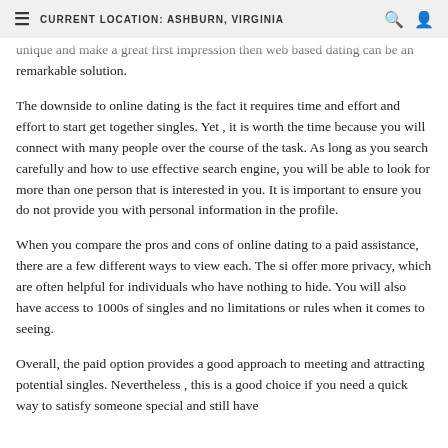CURRENT LOCATION: ASHBURN, VIRGINIA
unique and make a great first impression then web based dating can be an remarkable solution.
The downside to online dating is the fact it requires time and effort and effort to start get together singles. Yet , it is worth the time because you will connect with many people over the course of the task. As long as you search carefully and how to use effective search engine, you will be able to look for more than one person that is interested in you. It is important to ensure you do not provide you with personal information in the profile.
When you compare the pros and cons of online dating to a paid assistance, there are a few different ways to view each. The si offer more privacy, which are often helpful for individuals who have nothing to hide. You will also have access to 1000s of singles and no limitations or rules when it comes to seeing.
Overall, the paid option provides a good approach to meeting and attracting potential singles. Nevertheless , this is a good choice if you need a quick way to satisfy someone special and still have